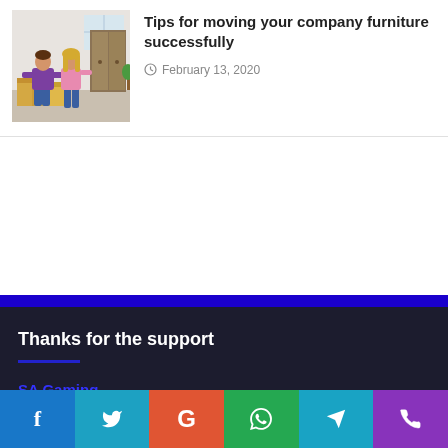[Figure (photo): Two people packing/moving boxes in a room with cardboard boxes and a wardrobe]
Tips for moving your company furniture successfully
February 13, 2020
Thanks for the support
SA Gaming
Social share buttons: Facebook, Twitter, Google, WhatsApp, Telegram, Phone